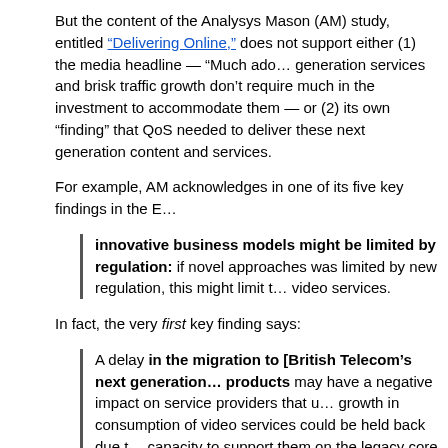But the content of the Analysys Mason (AM) study, entitled “Delivering Online,” does not support either (1) the media headline — “Much ado…” generation services and brisk traffic growth don’t require much in the investment to accommodate them — or (2) its own “finding” that QoS needed to deliver these next generation content and services.
For example, AM acknowledges in one of its five key findings in the E…
innovative business models might be limited by regulation: if novel approaches was limited by new regulation, this might limit the video services.
In fact, the very first key finding says:
A delay in the migration to [British Telecom’s next generation] products may have a negative impact on service providers that use… growth in consumption of video services could be held back due to capacity to support them on the legacy core network. We believe… will be important in enabling significant take-up of online video se… for consumers.